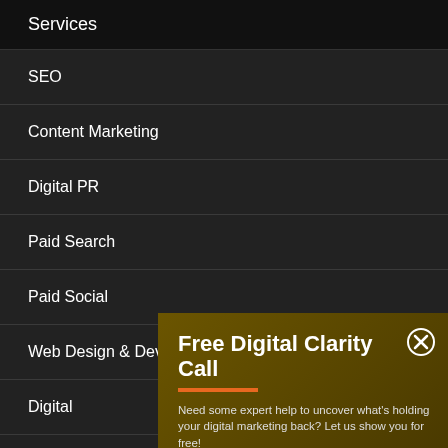Services
SEO
Content Marketing
Digital PR
Paid Search
Paid Social
Web Design & Development
Digital
Ad-Ho
About
Free Digital Clarity Call
Need some expert help to uncover what's holding your digital marketing back? Let us show you for free!